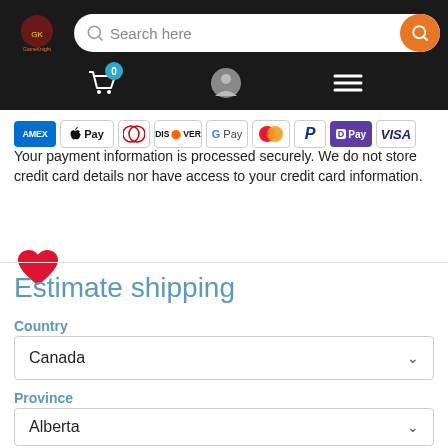[Figure (screenshot): E-commerce website header with logo, search bar, cart icon with badge '0', user icon, and menu icon on dark background]
[Figure (infographic): Payment method icons: AMEX, Apple Pay, Diners, Discover, G Pay, Mastercard, PayPal, D Pay, VISA]
Your payment information is processed securely. We do not store credit card details nor have access to your credit card information.
[Figure (illustration): Red heart icon]
Estimate shipping
Country
Canada
Province
Alberta